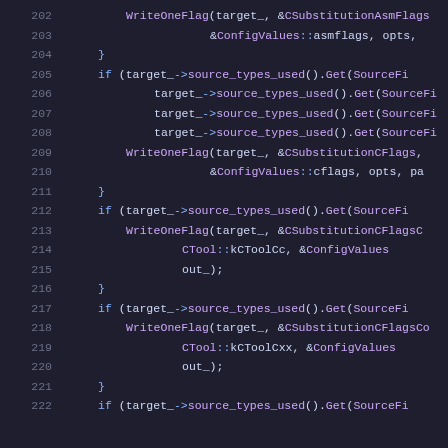[Figure (screenshot): Code editor screenshot showing C++ source code lines 202-222 with syntax highlighting on a dark background. Code shows WriteOneFlag function calls and if statements checking target_->source_types_used().Get(SourceFi...) conditions.]